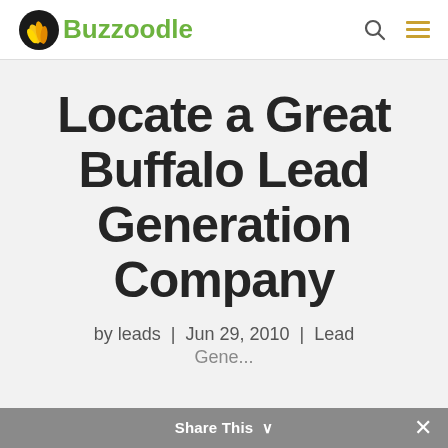Buzzoodle
Locate a Great Buffalo Lead Generation Company
by leads  |  Jun 29, 2010  |  Lead Gene...
Share This